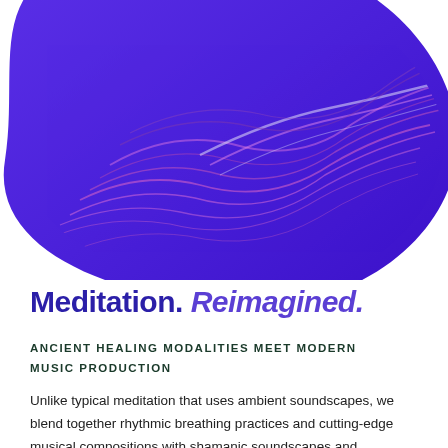[Figure (illustration): Abstract blob shape in blue/indigo with flowing pink and white wavy lines creating a soundwave/aurora effect, cropped at top]
Meditation. Reimagined.
ANCIENT HEALING MODALITIES MEET MODERN MUSIC PRODUCTION
Unlike typical meditation that uses ambient soundscapes, we blend together rhythmic breathing practices and cutting-edge musical compositions with shamanic soundscapes and